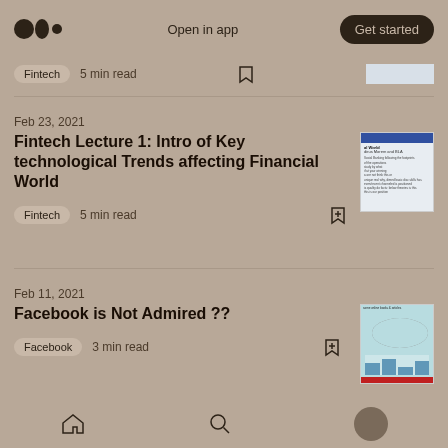Open in app | Get started
Fintech  5 min read
Feb 23, 2021
Fintech Lecture 1: Intro of Key technological Trends affecting Financial World
Fintech  5 min read
Feb 11, 2021
Facebook is Not Admired ??
Facebook  3 min read
Home  Search  Profile